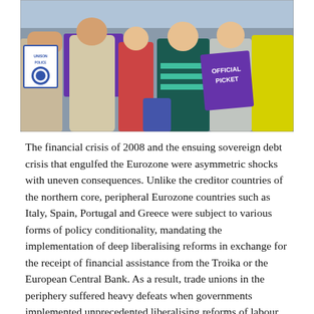[Figure (photo): Photograph of a crowd of people at a protest or picket, holding purple and white signs reading 'OFFICIAL PICKET' and UNISON police signs. People are dressed in winter clothing outdoors.]
The financial crisis of 2008 and the ensuing sovereign debt crisis that engulfed the Eurozone were asymmetric shocks with uneven consequences. Unlike the creditor countries of the northern core, peripheral Eurozone countries such as Italy, Spain, Portugal and Greece were subject to various forms of policy conditionality, mandating the implementation of deep liberalising reforms in exchange for the receipt of financial assistance from the Troika or the European Central Bank. As a result, trade unions in the periphery suffered heavy defeats when governments implemented unprecedented liberalising reforms of labour market and welfare state institutions. The uneven impacts of the Euro crisis governance reinforced a common narrative highlighting the core-periphery cleavage